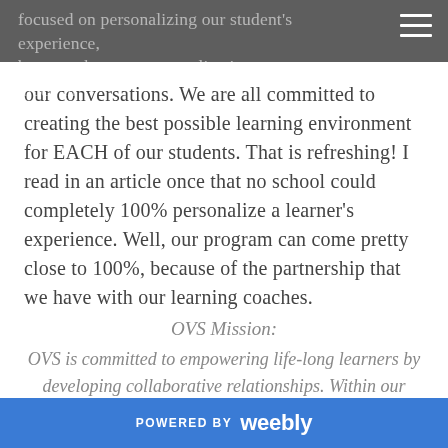focused on personalizing our student's experience, because the term personalization came up so much in our conversations. We are all committed to creating the best possible learning environment for EACH of our students. That is refreshing! I read in an article once that no school could completely 100% personalize a learner's experience. Well, our program can come pretty close to 100%, because of the partnership that we have with our learning coaches.
OVS Mission:
OVS is committed to empowering life-long learners by developing collaborative relationships. Within our community, we provide an innovative,
POWERED BY weebly